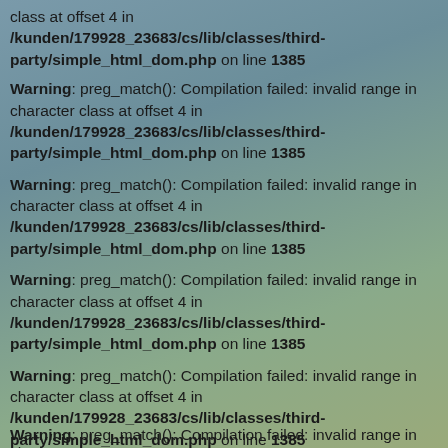class at offset 4 in /kunden/179928_23683/cs/lib/classes/third-party/simple_html_dom.php on line 1385
Warning: preg_match(): Compilation failed: invalid range in character class at offset 4 in /kunden/179928_23683/cs/lib/classes/third-party/simple_html_dom.php on line 1385
Warning: preg_match(): Compilation failed: invalid range in character class at offset 4 in /kunden/179928_23683/cs/lib/classes/third-party/simple_html_dom.php on line 1385
Warning: preg_match(): Compilation failed: invalid range in character class at offset 4 in /kunden/179928_23683/cs/lib/classes/third-party/simple_html_dom.php on line 1385
Warning: preg_match(): Compilation failed: invalid range in character class at offset 4 in /kunden/179928_23683/cs/lib/classes/third-party/simple_html_dom.php on line 1385
Warning: preg_match(): Compilation failed: invalid range in character class at offset 4 in /kunden/179928_23683/cs/lib/classes/third-party/simple_html_dom.php on line 1385
Warning: preg_match(): Compilation failed: invalid range in character class at offset 4 in /kunden/179928_23683/cs/lib/classes/third-party/simple_html_dom.php on line 1385
Warning: preg_match(): Compilation failed: invalid range in character class at offset 4 in /kunden/179928_23683/cs/lib/classes/third-party/simple_html_dom.php on line 1385
Warning: preg_match(): Compilation failed: invalid range in character class at offset 4 in /kunden/179928_23683/cs/lib/classes/third-party/simple_html_dom.php on line 1385